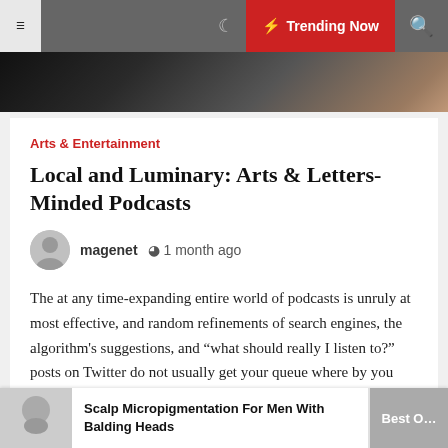Trending Now
[Figure (photo): Dark hero image strip at the top of the article]
Arts & Entertainment
Local and Luminary: Arts & Letters-Minded Podcasts
magenet   1 month ago
The at any time-expanding entire world of podcasts is unruly at most effective, and random refinements of search engines, the algorithm's suggestions, and "what should really I listen to?" posts on Twitter do not usually get your queue where by you want it to be. With podcasts about art and [...]
[Figure (photo): Bottom image strip showing various article thumbnails]
Scalp Micropigmentation For Men With Balding Heads
Best O…